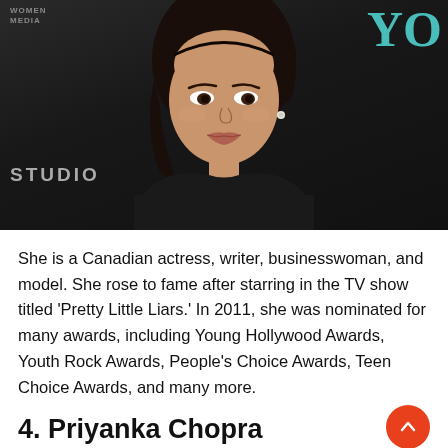[Figure (photo): A woman with dark hair pulled back, wearing a black lace top, photographed at what appears to be a studio/event backdrop with teal 'YO' text visible in top right and 'STUDIO' text on the left side.]
She is a Canadian actress, writer, businesswoman, and model. She rose to fame after starring in the TV show titled 'Pretty Little Liars.' In 2011, she was nominated for many awards, including Young Hollywood Awards, Youth Rock Awards, People's Choice Awards, Teen Choice Awards, and many more.
4. Priyanka Chopra